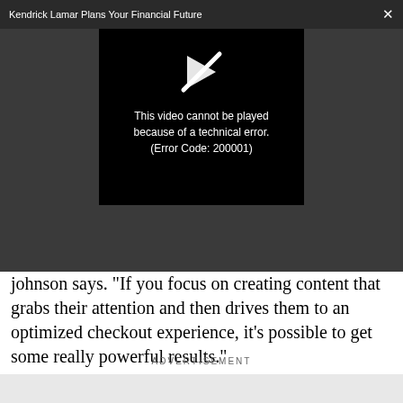Kendrick Lamar Plans Your Financial Future
[Figure (screenshot): Video player showing error message: This video cannot be played because of a technical error. (Error Code: 200001)]
johnson says. "If you focus on creating content that grabs their attention and then drives them to an optimized checkout experience, it's possible to get some really powerful results."
ADVERTISEMENT